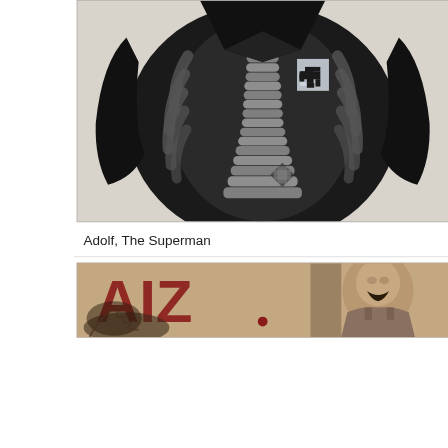[Figure (photo): Black and white photomontage showing an x-ray view of a human torso wearing a dark jacket. The chest cavity is filled with stacked coins instead of organs. A swastika symbol is visible on the chest area. This is the famous John Heartfield photomontage 'Adolf, The Superman'.]
Adolf, The Superman
[Figure (photo): Sepia-toned photomontage showing a shouting figure in military uniform with the letters 'AIZ' visible in large text on the left side. Smoke and fire imagery visible in the lower left. This appears to be a cover of the AIZ (Arbeiter-Illustrierte-Zeitung) magazine featuring a John Heartfield photomontage.]